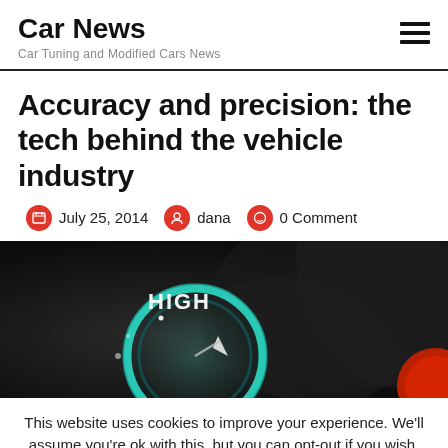Car News
Car Tuning and Modified Cars News
Accuracy and precision: the tech behind the vehicle industry
July 25, 2014   dana   0 Comment
[Figure (photo): Close-up of a dark automotive gauge/dial with a teal circular element and a pointer arrow, with the word HIGH visible and a red element at the right edge.]
This website uses cookies to improve your experience. We'll assume you're ok with this, but you can opt-out if you wish.
Accept   Read More